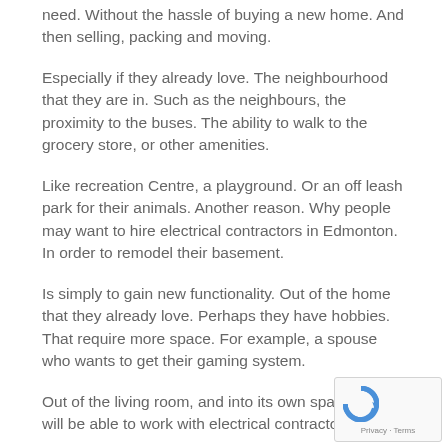need. Without the hassle of buying a new home. And then selling, packing and moving.
Especially if they already love. The neighbourhood that they are in. Such as the neighbours, the proximity to the buses. The ability to walk to the grocery store, or other amenities.
Like recreation Centre, a playground. Or an off leash park for their animals. Another reason. Why people may want to hire electrical contractors in Edmonton. In order to remodel their basement.
Is simply to gain new functionality. Out of the home that they already love. Perhaps they have hobbies. That require more space. For example, a spouse who wants to get their gaming system.
Out of the living room, and into its own space. They will be able to work with electrical contractors in